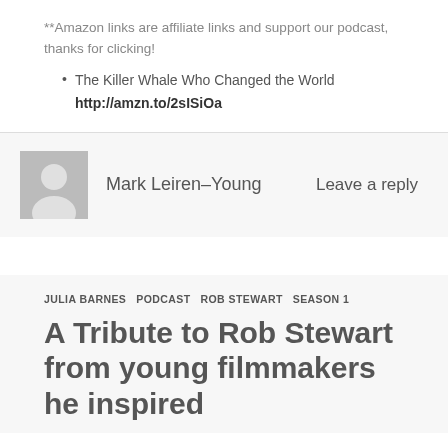**Amazon links are affiliate links and support our podcast, thanks for clicking!
The Killer Whale Who Changed the World http://amzn.to/2sISiOa
Mark Leiren-Young
Leave a reply
JULIA BARNES  PODCAST  ROB STEWART  SEASON 1
A Tribute to Rob Stewart from young filmmakers he inspired